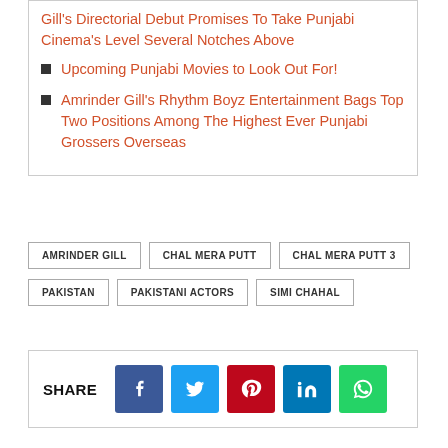Gill’s Directorial Debut Promises To Take Punjabi Cinema’s Level Several Notches Above
Upcoming Punjabi Movies to Look Out For!
Amrinder Gill’s Rhythm Boyz Entertainment Bags Top Two Positions Among The Highest Ever Punjabi Grossers Overseas
AMRINDER GILL
CHAL MERA PUTT
CHAL MERA PUTT 3
PAKISTAN
PAKISTANI ACTORS
SIMI CHAHAL
SHARE